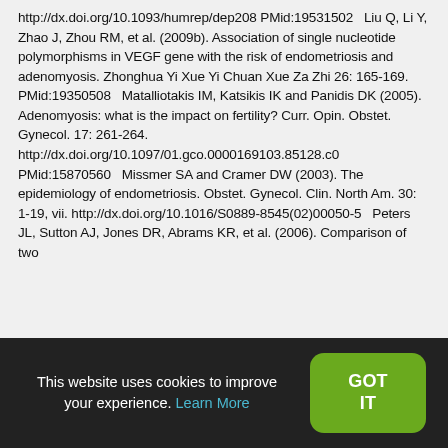http://dx.doi.org/10.1093/humrep/dep208 PMid:19531502   Liu Q, Li Y, Zhao J, Zhou RM, et al. (2009b). Association of single nucleotide polymorphisms in VEGF gene with the risk of endometriosis and adenomyosis. Zhonghua Yi Xue Yi Chuan Xue Za Zhi 26: 165-169. PMid:19350508   Matalliotakis IM, Katsikis IK and Panidis DK (2005). Adenomyosis: what is the impact on fertility? Curr. Opin. Obstet. Gynecol. 17: 261-264. http://dx.doi.org/10.1097/01.gco.0000169103.85128.c0 PMid:15870560   Missmer SA and Cramer DW (2003). The epidemiology of endometriosis. Obstet. Gynecol. Clin. North Am. 30: 1-19, vii. http://dx.doi.org/10.1016/S0889-8545(02)00050-5   Peters JL, Sutton AJ, Jones DR, Abrams KR, et al. (2006). Comparison of two
This website uses cookies to improve your experience. Learn More